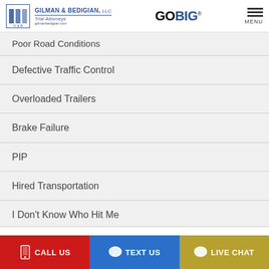[Figure (logo): Gilman & Bedigian LLC Trial Attorneys logo with GOBIG tagline and menu button]
Poor Road Conditions
Defective Traffic Control
Overloaded Trailers
Brake Failure
PIP
Hired Transportation
I Don't Know Who Hit Me
CALL US  TEXT US  LIVE CHAT